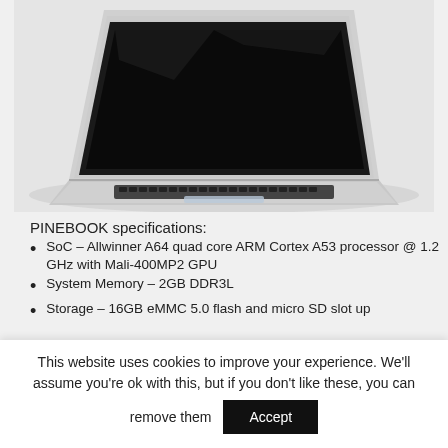[Figure (photo): A silver laptop (resembling a MacBook Air) photographed from a three-quarter angle against a light gray background, showing the keyboard and black screen.]
PINEBOOK specifications:
SoC – Allwinner A64 quad core ARM Cortex A53 processor @ 1.2 GHz with Mali-400MP2 GPU
System Memory – 2GB DDR3L
Storage – 16GB eMMC 5.0 flash and micro SD slot up
This website uses cookies to improve your experience. We'll assume you're ok with this, but if you don't like these, you can remove them  Accept